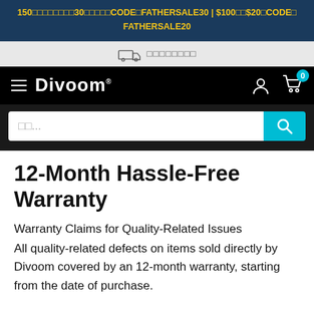150□□□□□□□□30□□□□□CODE□FATHERSALE30 | $100□□$20□CODE□ FATHERSALE20
□□□□□□□□
12-Month Hassle-Free Warranty
Warranty Claims for Quality-Related Issues
All quality-related defects on items sold directly by Divoom covered by an 12-month warranty, starting from the date of purchase.